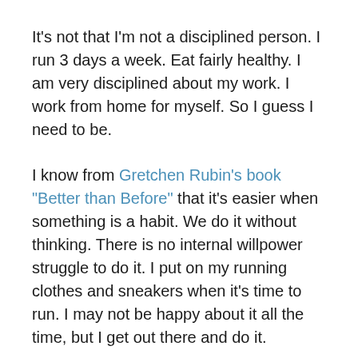It's not that I'm not a disciplined person. I run 3 days a week. Eat fairly healthy. I am very disciplined about my work. I work from home for myself. So I guess I need to be.
I know from Gretchen Rubin's book "Better than Before" that it's easier when something is a habit. We do it without thinking. There is no internal willpower struggle to do it. I put on my running clothes and sneakers when it's time to run. I may not be happy about it all the time, but I get out there and do it.
I was briefly in the habit of sketching with my coffee while I waited for the kids to get dressed for school. I'd sit down with my coffee, grab the sketchbook without thinking, and start doodling any everyday object I could find. It was great, and it would get me thinking of things